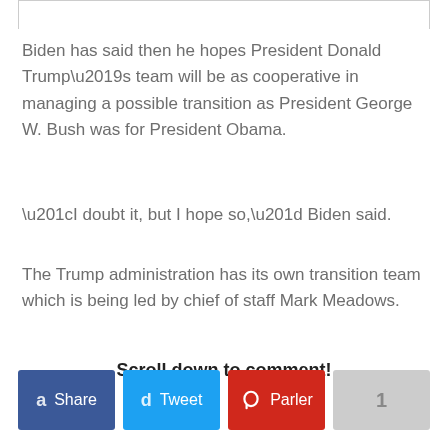Biden has said then he hopes President Donald Trump’s team will be as cooperative in managing a possible transition as President George W. Bush was for President Obama.
“I doubt it, but I hope so,” Biden said.
The Trump administration has its own transition team which is being led by chief of staff Mark Meadows.
Scroll down to comment!
[Figure (other): Social sharing buttons row: Share (Facebook, dark blue), Tweet (Twitter, light blue), Parler (red with Parler logo), and a grey count button showing '1']